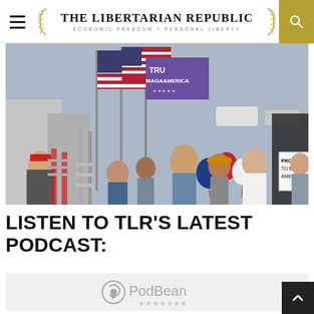THE LIBERTARIAN REPUBLIC — ECONOMIC FREEDOM + PERSONAL LIBERTY
[Figure (photo): Outdoor rally with people holding American flags and a purple MAGA flag, red-white-blue balloons, crowd of supporters, some wearing red MAGA hats, a sign reading PROUD TO BE AME[RICAN]]
LISTEN TO TLR'S LATEST PODCAST:
[Figure (other): PodBean podcast player embed widget with PodBean logo and dots]